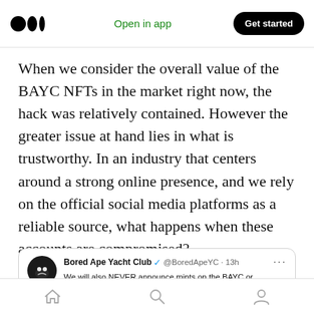Open in app | Get started
When we consider the overall value of the BAYC NFTs in the market right now, the hack was relatively contained. However the greater issue at hand lies in what is trustworthy. In an industry that centers around a strong online presence, and we rely on the official social media platforms as a reliable source, what happens when these accounts are compromised?
[Figure (screenshot): Embedded tweet from @BoredApeYC (Bored Ape Yacht Club) posted 13h ago: 'We will also NEVER announce mints on the BAYC or Otherside Instagram accounts first, ever. Only obtain information from our official twitter accounts: @BoredApeYC, @yugalabs, and @OthersdeMeta. There will be...' (text cut off)]
Home | Search | Profile